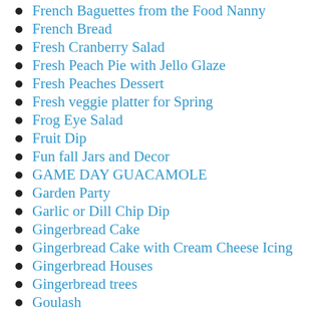French Baguettes from the Food Nanny
French Bread
Fresh Cranberry Salad
Fresh Peach Pie with Jello Glaze
Fresh Peaches Dessert
Fresh veggie platter for Spring
Frog Eye Salad
Fruit Dip
Fun fall Jars and Decor
GAME DAY GUACAMOLE
Garden Party
Garlic or Dill Chip Dip
Gingerbread Cake
Gingerbread Cake with Cream Cheese Icing
Gingerbread Houses
Gingerbread trees
Goulash